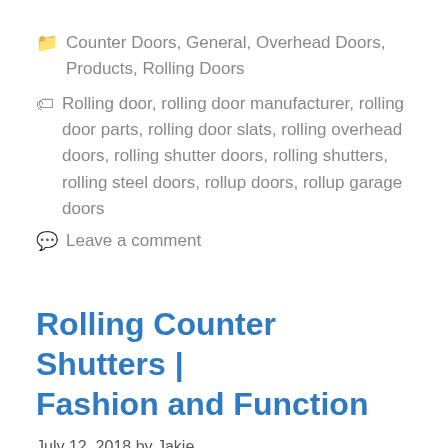Counter Doors, General, Overhead Doors, Products, Rolling Doors
Rolling door, rolling door manufacturer, rolling door parts, rolling door slats, rolling overhead doors, rolling shutter doors, rolling shutters, rolling steel doors, rollup doors, rollup garage doors
Leave a comment
Rolling Counter Shutters | Fashion and Function
July 12, 2018 by Jakie